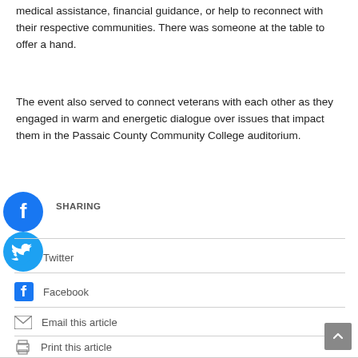medical assistance, financial guidance, or help to reconnect with their respective communities. There was someone at the table to offer a hand.
The event also served to connect veterans with each other as they engaged in warm and energetic dialogue over issues that impact them in the Passaic County Community College auditorium.
SHARING
Twitter
Facebook
Email this article
Print this article